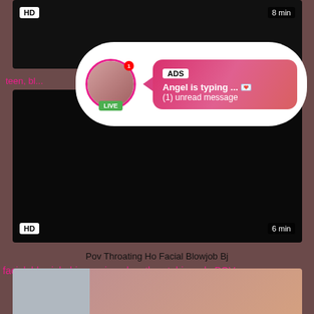[Figure (screenshot): Top video thumbnail, dark background with HD badge top-left and 8 min duration badge top-right]
[Figure (infographic): Ad overlay popup: avatar with LIVE badge, pink gradient bubble showing ADS label, 'Angel is typing ... 💌' and '(1) unread message']
teen, bl..., POV,...
[Figure (screenshot): Main video thumbnail - black/dark background with HD badge bottom-left and 6 min duration badge bottom-right]
Pov Throating Ho Facial Blowjob Bj
facial, blowjob, bj, gagging, deepthroat, bigcock, POV, co...
[Figure (photo): Bottom partial thumbnail showing a person with reddish hair on right side and gray/white background on left]